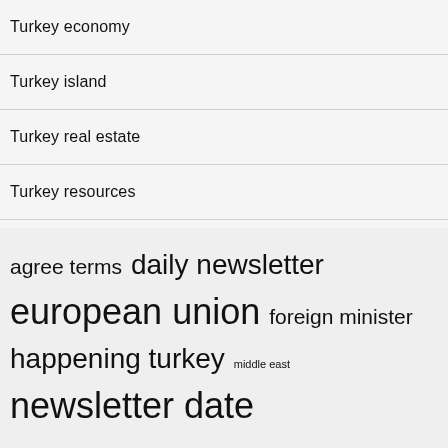Turkey economy
Turkey island
Turkey real estate
Turkey resources
[Figure (infographic): Tag cloud with terms of varying sizes: agree terms, daily newsletter, european union, foreign minister, happening turkey, middle east, newsletter date, president recep, prime minister, real estate]